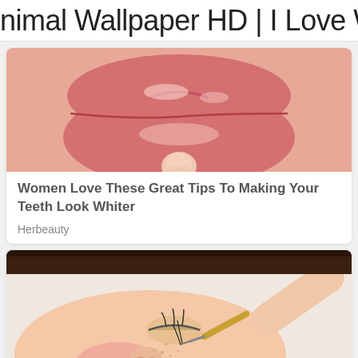nimal Wallpaper HD | I Love Wallpap
[Figure (photo): Close-up of a woman's lips, pink and glossy, slightly parted, showing teeth.]
Women Love These Great Tips To Making Your Teeth Look Whiter
Herbeauty
[Figure (photo): A woman lying down while a technician applies microblading to her eyebrow using a fine tool.]
The Real Truth About The Pain Caused By Microblading